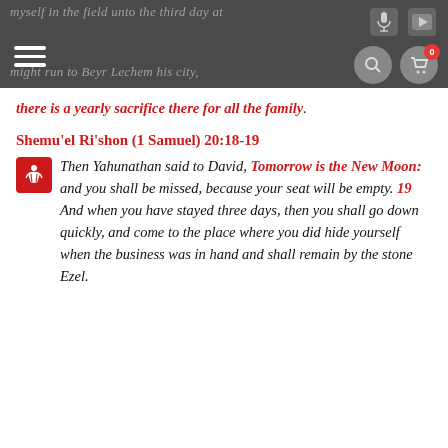myself in the field unto the third day at
might run to Beyr Lechem his city, for there is a yearly sacrifice there for all the family.
there is a yearly sacrifice there for all the family.
Shemu'el Ri'shon (1 Samuel) 20:18-19
Then Yahunathan said to David, Tomorrow is the New Moon: and you shall be missed, because your seat will be empty. 19 And when you have stayed three days, then you shall go down quickly, and come to the place where you did hide yourself when the business was in hand and shall remain by the stone Ezel.